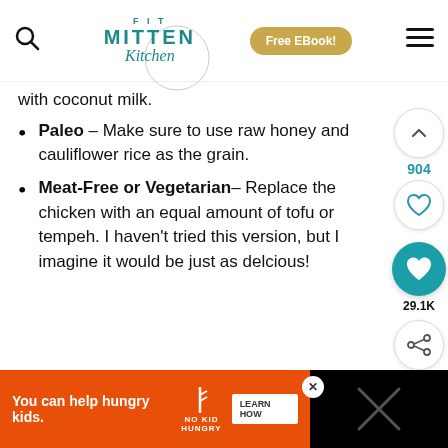FIT MITTEN Kitchen — Free EBook! [navigation]
with coconut milk.
Paleo – Make sure to use raw honey and cauliflower rice as the grain.
Meat-Free or Vegetarian– Replace the chicken with an equal amount of tofu or tempeh. I haven't tried this version, but I imagine it would be just as delcious!
You can help hungry kids. NO KID HUNGRY LEARN HOW